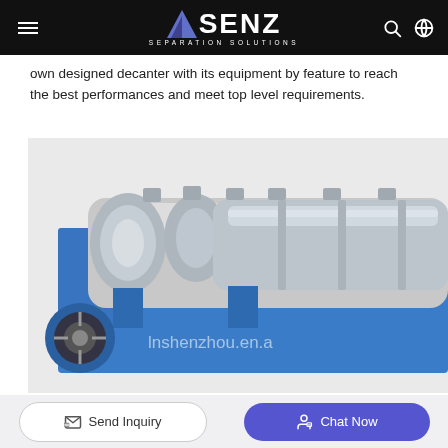SENZ SEPARATION SOLUTIONS
own designed decanter with its equipment by feature to reach the best performances and meet top level requirements.
[Figure (photo): Industrial decanter centrifuge machine with blue casing and exposed stainless steel screw conveyor/bowl components, watermarked with 'lnshenzhou.en.a']
Send Inquiry | Chat Now